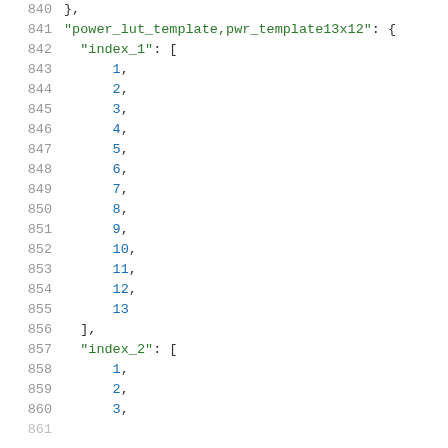Code listing lines 840-860, JSON power_lut_template data with index_1 and index_2 arrays
840    },
841    "power_lut_template,pwr_template13x12": {
842      "index_1": [
843          1,
844          2,
845          3,
846          4,
847          5,
848          6,
849          7,
850          8,
851          9,
852          10,
853          11,
854          12,
855          13
856      ],
857      "index_2": [
858          1,
859          2,
860          3,